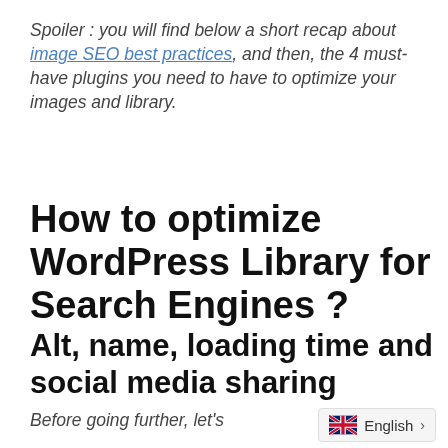Spoiler : you will find below a short recap about image SEO best practices, and then, the 4 must-have plugins you need to have to optimize your images and library.
How to optimize WordPress Library for Search Engines ?
Alt, name, loading time and social media sharing
Before going further, let's …p about image SEO …